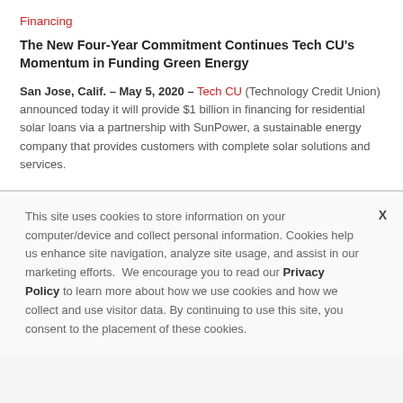Financing
The New Four-Year Commitment Continues Tech CU's Momentum in Funding Green Energy
San Jose, Calif. – May 5, 2020 – Tech CU (Technology Credit Union) announced today it will provide $1 billion in financing for residential solar loans via a partnership with SunPower, a sustainable energy company that provides customers with complete solar solutions and services.
This site uses cookies to store information on your computer/device and collect personal information. Cookies help us enhance site navigation, analyze site usage, and assist in our marketing efforts.  We encourage you to read our Privacy Policy to learn more about how we use cookies and how we collect and use visitor data. By continuing to use this site, you consent to the placement of these cookies.